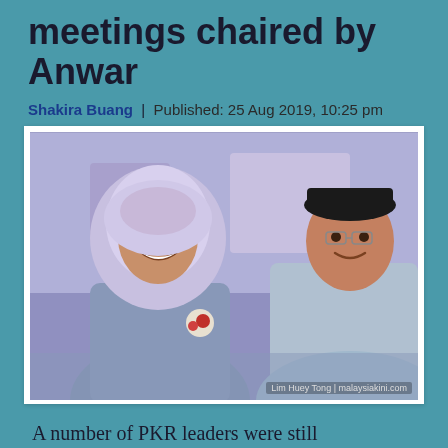meetings chaired by Anwar
Shakira Buang | Published: 25 Aug 2019, 10:25 pm
[Figure (photo): Two people smiling and posing at an event. On the left, a woman wearing a light purple hijab and a corsage with a red rose. On the right, a man wearing a black songkok and a light blue baju melayu. Photo credit: Lim Huey Tong | malaysiakini.com]
A number of PKR leaders were still